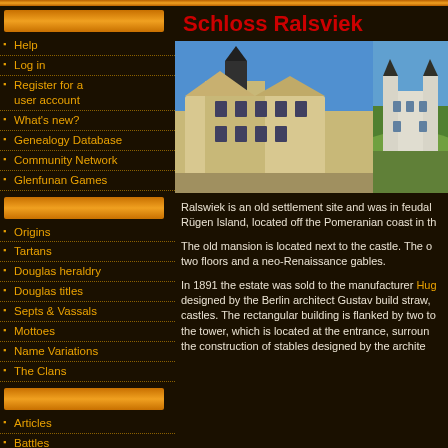Schloss Ralsviek
Help
Log in
Register for a user account
What's new?
Genealogy Database
Community Network
Glenfunan Games
Origins
Tartans
Douglas heraldry
Douglas titles
Septs & Vassals
Mottoes
Name Variations
The Clans
Articles
Battles
Biographies/People
Documents
Douglas Families
Family Trees
Histories
[Figure (photo): Photo of Schloss Ralsviek castle building, cream-colored with dark roof and tower, blue sky]
[Figure (photo): Photo of second view of Schloss Ralsviek castle, white building with towers on green hillside]
Ralswiek is an old settlement site and was in feudal Rügen Island, located off the Pomeranian coast in th
The old mansion is located next to the castle. The o two floors and a neo-Renaissance gables.
In 1891 the estate was sold to the manufacturer Hug designed by the Berlin architect Gustav build straw, castles. The rectangular building is flanked by two to the tower, which is located at the entrance, surroun the construction of stables designed by the archite